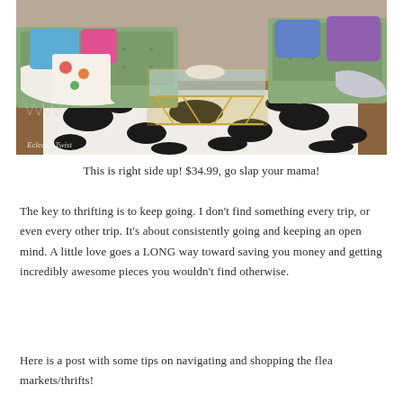[Figure (photo): Interior living room photo showing a green tufted sofa with colorful pillows, a gold/brass and glass coffee table, and a black and white zebra-print rug. A white throw blanket is draped over the sofa. Watermark text reads 'Eclectic Twist' in bottom left corner.]
This is right side up!  $34.99, go slap your mama!
The key to thrifting is to keep going.  I don't find something every trip, or even every other trip.  It's about consistently going and keeping an open mind.  A little love goes a LONG way toward saving you money and getting incredibly awesome pieces you wouldn't find otherwise.
Here is a post with some tips on navigating and shopping the flea markets/thrifts!